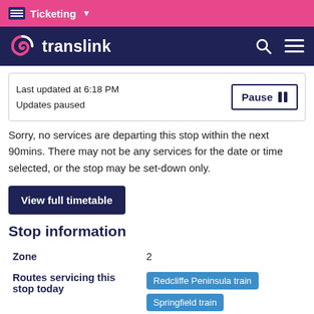Ticketing
[Figure (logo): Translink logo with pink swirl icon and white text 'translink' on dark navy background]
Last updated at 6:18 PM
Updates paused
Sorry, no services are departing this stop within the next 90mins. There may not be any services for the date or time selected, or the stop may be set-down only.
View full timetable
Stop information
| Zone | 2 |
| Routes servicing this stop today | Redcliffe Peninsula train
Springfield train |